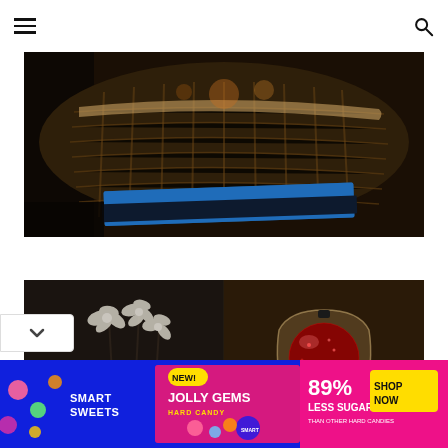Navigation header with hamburger menu and search icon
[Figure (photo): Dark photograph of a white wicker basket and books including one titled GARDEN MAKEOVERS, on a dark surface]
[Figure (photo): Dark photograph of white flowers and a glass vase with a red glitter ornament and fairy lights on a shelf]
[Figure (photo): Advertisement banner for Smart Sweets Jolly Gems hard candy - NEW! - 89% Less Sugar than other hard candies, with SHOP NOW button]